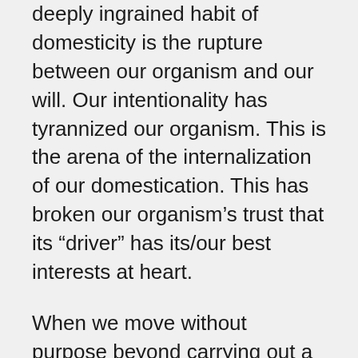deeply ingrained habit of domesticity is the rupture between our organism and our will. Our intentionality has tyrannized our organism. This is the arena of the internalization of our domestication. This has broken our organism’s trust that its “driver” has its/our best interests at heart.
When we move without purpose beyond carrying out a form as smoothly and evenly as we can. When we move at a pace that does not allow momentum and inertia to take over. We signal to our organism that we will not put it into harm’s way capriciously. We signal that we are concerned with discovering and strengthening and extending the limits of our balance, our vitality, our range of motion without expecting our